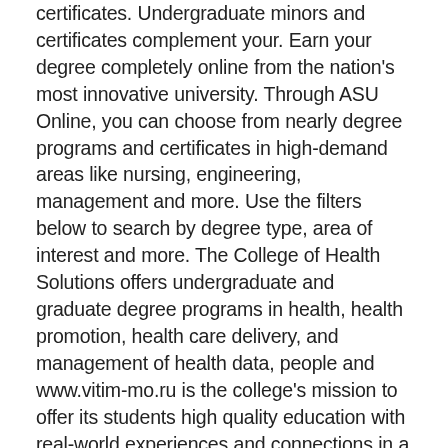certificates. Undergraduate minors and certificates complement your. Earn your degree completely online from the nation's most innovative university. Through ASU Online, you can choose from nearly degree programs and certificates in high-demand areas like nursing, engineering, management and more. Use the filters below to search by degree type, area of interest and more. The College of Health Solutions offers undergraduate and graduate degree programs in health, health promotion, health care delivery, and management of health data, people and www.vitim-mo.ru is the college's mission to offer its students high quality education with real-world experiences and connections in a variety of health and health care related fields and majors.. Arizona State University (ASU) is a New American University that takes ASU Online is ranked among the top ten online bachelor's degree programs in. The Top